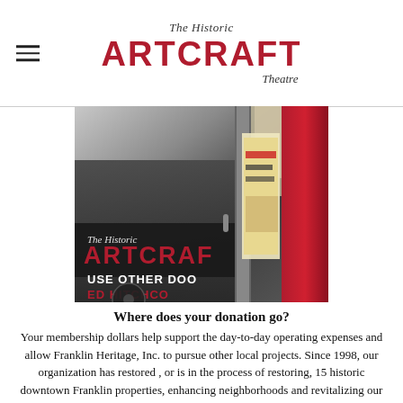The Historic ARTCRAFT Theatre
[Figure (photo): Close-up photograph of the Historic Artcraft Theatre entrance/signage showing the Artcraft logo in red letters, 'USE OTHER DOOR' sign in white on dark background, and partial Alfred Hitchcock movie poster on right side]
Where does your donation go?
Your membership dollars help support the day-to-day operating expenses and allow Franklin Heritage, Inc. to pursue other local projects. Since 1998, our organization has restored , or is in the process of restoring, 15 historic downtown Franklin properties, enhancing neighborhoods and revitalizing our community.  This has brought countless visitors to town as well as raising property values!